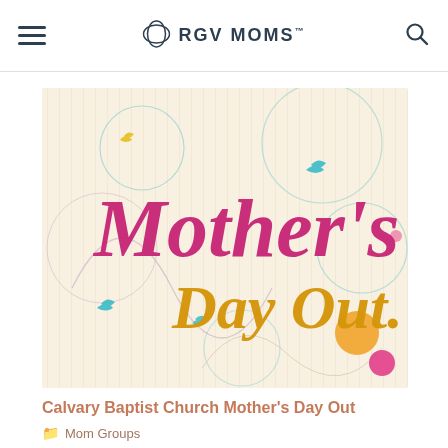RGV MOMS
[Figure (illustration): Mother's Day Out promotional graphic with decorative circles, swirls, small bird silhouettes, and flowers on a cream/beige background. Large pink cursive text reads 'Mother's' and golden/yellow text reads 'Day Out.' with a period.]
Calvary Baptist Church Mother's Day Out
Mom Groups